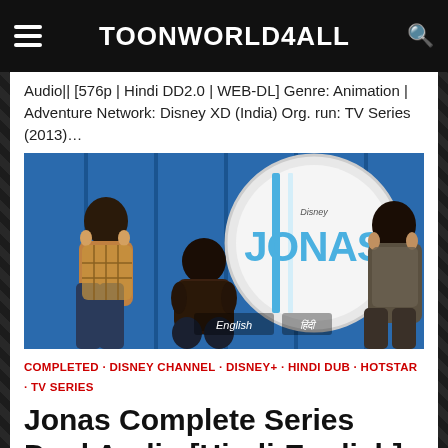TOONWORLD4ALL
Audio|| [576p | Hindi DD2.0 | WEB-DL] Genre: Animation | Adventure Network: Disney XD (India) Org. run: TV Series (2013)…
[Figure (photo): Jonas Disney Channel TV show promotional image featuring three young men (Jonas Brothers) against a blue backdrop with a large drum featuring the Disney Jonas logo. Text overlays say English and (another language).]
COMPLETED · DISNEY CHANNEL · DISNEY+ · HINDI DUB · HOTSTAR · TV SERIES
Jonas Complete Series Dual Audio [Hindi-English]